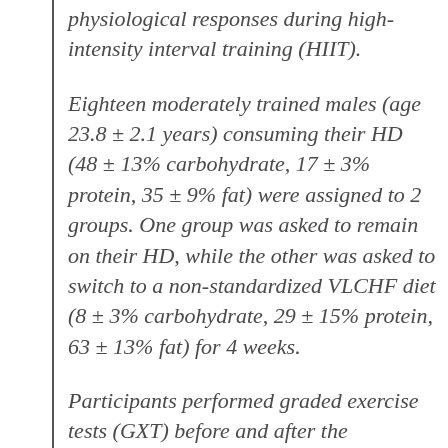physiological responses during high-intensity interval training (HIIT).
Eighteen moderately trained males (age 23.8 ± 2.1 years) consuming their HD (48 ± 13% carbohydrate, 17 ± 3% protein, 35 ± 9% fat) were assigned to 2 groups. One group was asked to remain on their HD, while the other was asked to switch to a non-standardized VLCHF diet (8 ± 3% carbohydrate, 29 ± 15% protein, 63 ± 13% fat) for 4 weeks.
Participants performed graded exercise tests (GXT) before and after the